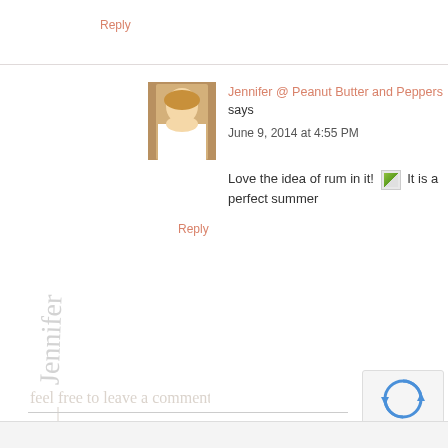Reply
Jennifer @ Peanut Butter and Peppers says
June 9, 2014 at 4:55 PM
Love the idea of rum in it! [image] It is a perfect summer
Reply
[Figure (illustration): Handwritten cursive signature reading 'Jennifer' and 'feel free to leave a comment :)']
[Figure (other): reCAPTCHA widget with Privacy - Terms label and close button]